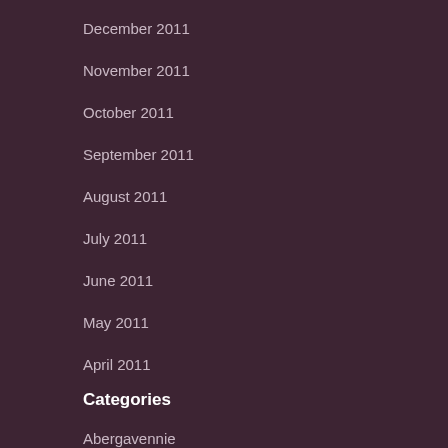December 2011
November 2011
October 2011
September 2011
August 2011
July 2011
June 2011
May 2011
April 2011
Categories
Abergavennie